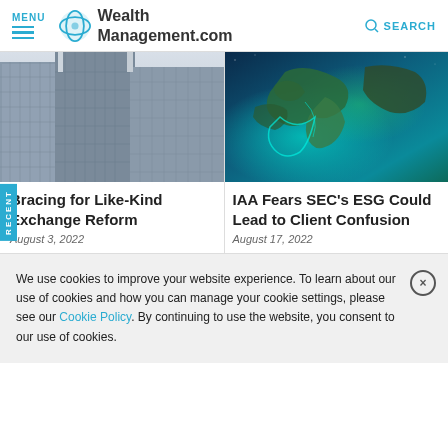MENU | WealthManagement.com | SEARCH
[Figure (photo): Looking up at tall glass skyscraper buildings from ground level, perspective shot]
Bracing for Like-Kind Exchange Reform
August 3, 2022
[Figure (photo): Satellite view of Europe and the Mediterranean coastline with glowing teal waters]
IAA Fears SEC's ESG Could Lead to Client Confusion
August 17, 2022
We use cookies to improve your website experience. To learn about our use of cookies and how you can manage your cookie settings, please see our Cookie Policy. By continuing to use the website, you consent to our use of cookies.